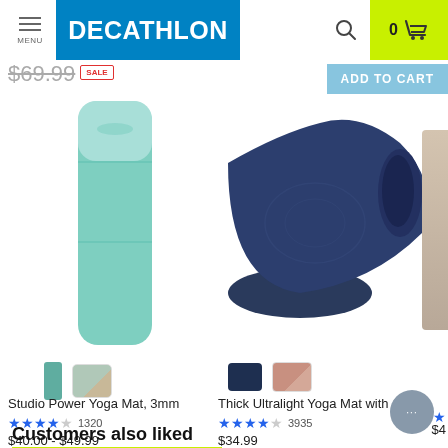[Figure (screenshot): Decathlon e-commerce website screenshot showing yoga mat products]
MENU | DECATHLON | Search icon | 0 Cart
$69.99 SALE
ADD TO CART
[Figure (photo): Teal/mint colored folded yoga mat (Studio Power Yoga Mat 3mm)]
[Figure (photo): Dark navy blue rolled yoga mat (Thick Ultralight Yoga Mat with C...)]
Studio Power Yoga Mat, 3mm
★★★★☆ 1320
$40.00 - $49.99
Thick Ultralight Yoga Mat with C...
★★★★☆ 3935
$34.99
Customers also liked